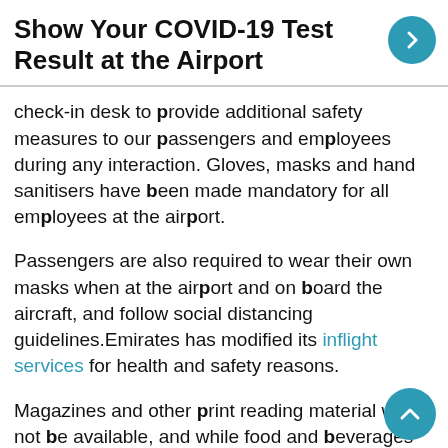Show Your COVID-19 Test Result at the Airport
check-in desk to provide additional safety measures to our passengers and employees during any interaction. Gloves, masks and hand sanitisers have been made mandatory for all employees at the airport.
Passengers are also required to wear their own masks when at the airport and on board the aircraft, and follow social distancing guidelines.Emirates has modified its inflight services for health and safety reasons.
Magazines and other print reading material will not be available, and while food and beverages will continue to be offered on board, packaging and presentation will be modified to reduce contact during meal service and minimize risk of interaction.